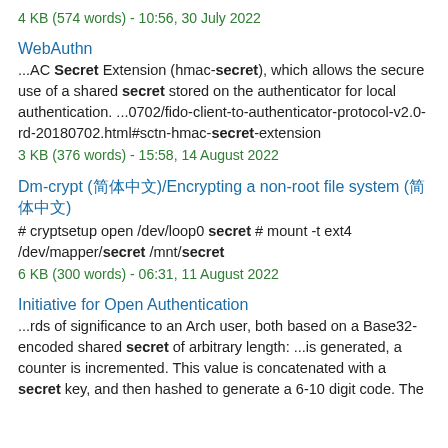4 KB (574 words) - 10:56, 30 July 2022
WebAuthn
...AC Secret Extension (hmac-secret), which allows the secure use of a shared secret stored on the authenticator for local authentication. ...0702/fido-client-to-authenticator-protocol-v2.0-rd-20180702.html#sctn-hmac-secret-extension
3 KB (376 words) - 15:58, 14 August 2022
Dm-crypt (简体中文)/Encrypting a non-root file system (简体中文)
# cryptsetup open /dev/loop0 secret # mount -t ext4 /dev/mapper/secret /mnt/secret
6 KB (300 words) - 06:31, 11 August 2022
Initiative for Open Authentication
...rds of significance to an Arch user, both based on a Base32-encoded shared secret of arbitrary length: ...is generated, a counter is incremented. This value is concatenated with a secret key, and then hashed to generate a 6-10 digit code. The